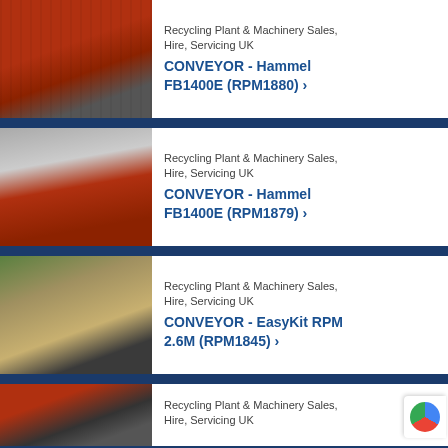[Figure (photo): Red industrial conveyor machine, close-up view]
Recycling Plant & Machinery Sales, Hire, Servicing UK
CONVEYOR - Hammel FB1400E (RPM1880) ›
[Figure (photo): Red conveyor belt machine photographed outdoors in black and white landscape]
Recycling Plant & Machinery Sales, Hire, Servicing UK
CONVEYOR - Hammel FB1400E (RPM1879) ›
[Figure (photo): Industrial conveyor hopper with gravel/debris material]
Recycling Plant & Machinery Sales, Hire, Servicing UK
CONVEYOR - EasyKit RPM 2.6M (RPM1845) ›
[Figure (photo): Red industrial conveyor frame, partially visible]
Recycling Plant & Machinery Sales, Hire, Servicing UK